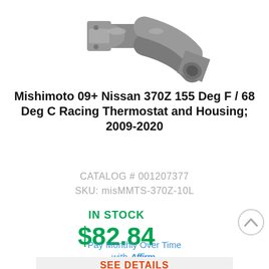[Figure (photo): Grey thermostat housing component (elbow shaped) for Nissan 370Z]
Mishimoto 09+ Nissan 370Z 155 Deg F / 68 Deg C Racing Thermostat and Housing; 2009-2020
CATALOG # 001207377
SKU: misMMTS-370Z-10L
IN STOCK
$82.84
Pay Monthly Over Time with Affirm.
SEE DETAILS